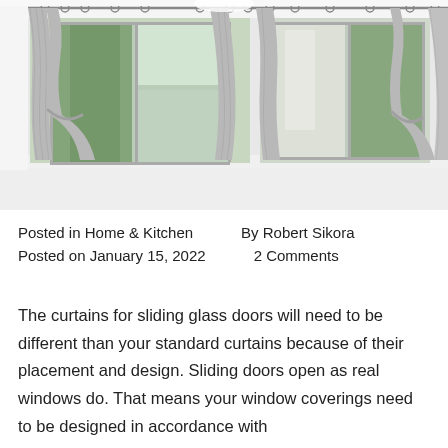[Figure (photo): Interior room with large sliding glass doors and windows dressed with gray/silver floor-length curtains tied back on both sides, white walls and white floor, green trees visible outside.]
Posted in Home & Kitchen    By Robert Sikora
Posted on January 15, 2022    2 Comments
The curtains for sliding glass doors will need to be different than your standard curtains because of their placement and design. Sliding doors open as real windows do. That means your window coverings need to be designed in accordance with